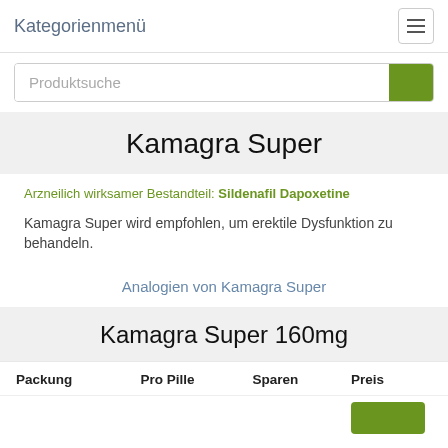Kategorienmenü
Produktsuche
Kamagra Super
Arzneilich wirksamer Bestandteil: Sildenafil Dapoxetine
Kamagra Super wird empfohlen, um erektile Dysfunktion zu behandeln.
Analogien von Kamagra Super
Kamagra Super 160mg
| Packung | Pro Pille | Sparen | Preis |
| --- | --- | --- | --- |